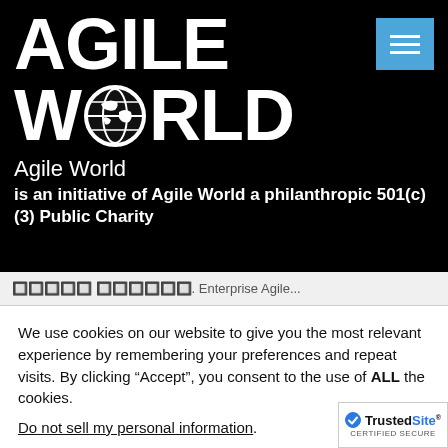[Figure (logo): Agile World logo: large bold white text 'AGILE WORLD' on black background with globe icon replacing the O in WORLD, and a hamburger menu button in blue on the right]
Agile World
is an initiative of Agile World a philanthropic 501(c)(3) Public Charity
?????? ??????. Enterprise Agile...
We use cookies on our website to give you the most relevant experience by remembering your preferences and repeat visits. By clicking “Accept”, you consent to the use of ALL the cookies.
Do not sell my personal information.
Cookie settings   ACCEPT
[Figure (logo): TrustedSite CERTIFIED SECURE badge in bottom right corner]